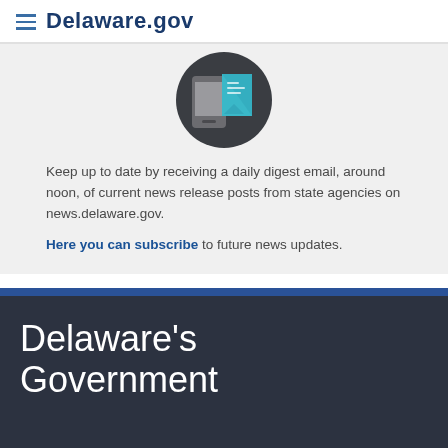Delaware.gov
[Figure (illustration): Circular dark icon showing a smartphone and a document/map graphic in teal, representing digital news or notifications]
Keep up to date by receiving a daily digest email, around noon, of current news release posts from state agencies on news.delaware.gov.
Here you can subscribe to future news updates.
Delaware's Government